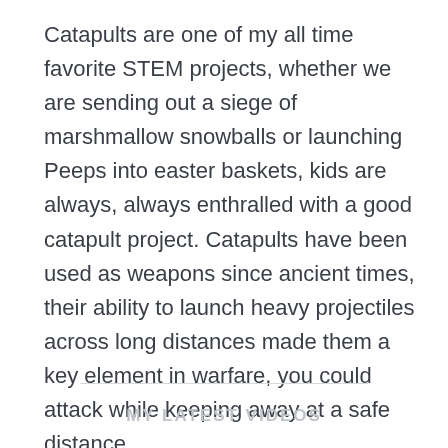Catapults are one of my all time favorite STEM projects, whether we are sending out a siege of marshmallow snowballs or launching Peeps into easter baskets, kids are always, always enthralled with a good catapult project. Catapults have been used as weapons since ancient times, their ability to launch heavy projectiles across long distances made them a key element in warfare, you could attack while keeping away at a safe distance.
MY LATEST VIDEOS